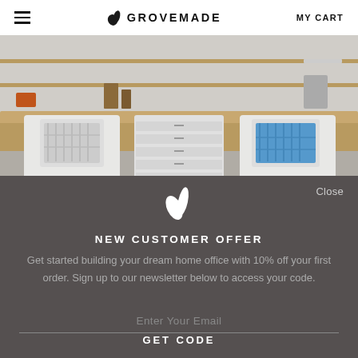≡  🌿 GROVEMADE  MY CART
[Figure (photo): Office workspace with Herman Miller Embody chairs (white and blue) and a white rolling drawer cabinet on a wooden desk with various items on shelves in background]
Close
NEW CUSTOMER OFFER
Get started building your dream home office with 10% off your first order. Sign up to our newsletter below to access your code.
Enter Your Email
GET CODE